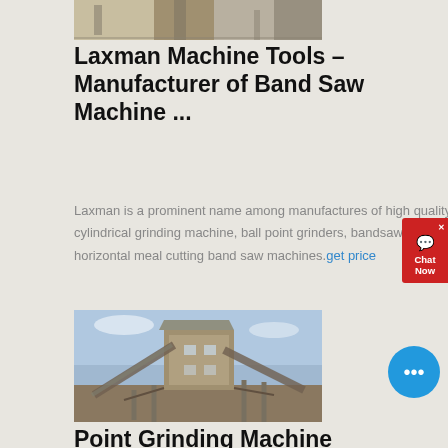[Figure (photo): Partial view of industrial machine or construction building — top portion cropped]
Laxman Machine Tools – Manufacturer of Band Saw Machine ...
Laxman is a prominent name among manufactures of high quality centerless grinding machine, cylindrical grinding machine, ball point grinders, bandsaw machines, horizontal bandsaw machines, horizontal meal cutting band saw machines. get price
[Figure (photo): Industrial crushing or grinding plant machinery with conveyor belts and structural framework against a blue sky background]
Point Grinding Machine